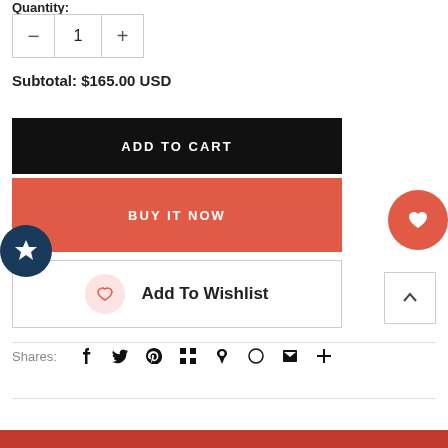Quantity:
— 1 +
Subtotal: $165.00 USD
ADD TO CART
BUY IT NOW
Add To Wishlist
Shares:
[Figure (other): Social share icons: Facebook, Twitter, Pinterest, Grid/Apps, Bookmark, Message, Mail, Plus]